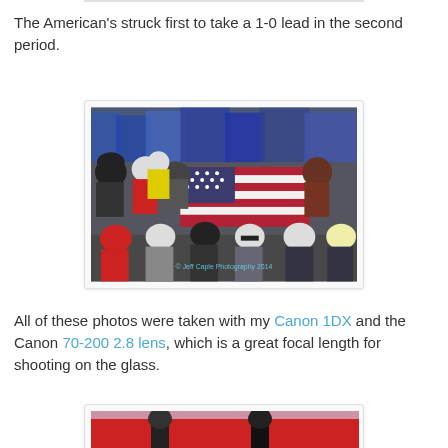The American's struck first to take a 1-0 lead in the second period.
[Figure (photo): Crowd of spectators at an ice hockey game, many wearing red and white USA hockey jerseys, waving an American flag. Watermark: © Jeff Caple Photography 2014]
All of these photos were taken with my Canon 1DX and the Canon 70-200 2.8 lens, which is a great focal length for shooting on the glass.
[Figure (photo): Ice hockey players on the ice, partially visible at the bottom of the page.]